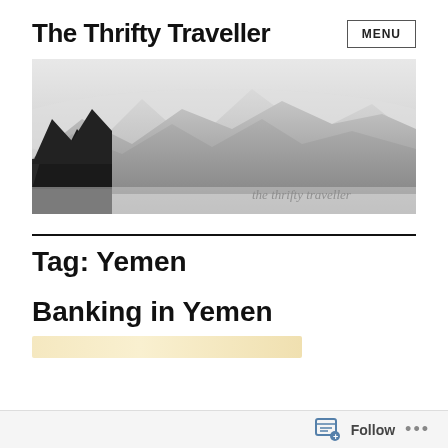The Thrifty Traveller
[Figure (photo): Black and white landscape photo of misty mountains with trees in the foreground. Text overlay reads 'the thrifty traveller' in grey in the lower right.]
Tag: Yemen
Banking in Yemen
[Figure (photo): Partial thumbnail image of an article, warm/golden tones, partially visible at the bottom of the page.]
Follow ...